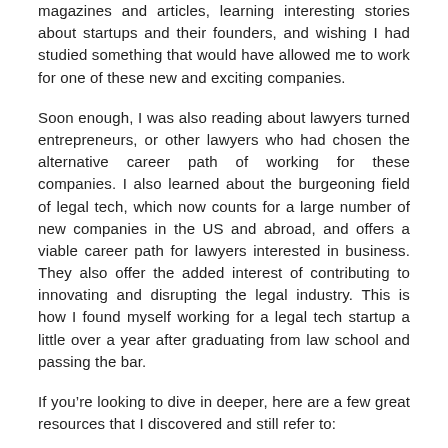magazines and articles, learning interesting stories about startups and their founders, and wishing I had studied something that would have allowed me to work for one of these new and exciting companies.
Soon enough, I was also reading about lawyers turned entrepreneurs, or other lawyers who had chosen the alternative career path of working for these companies. I also learned about the burgeoning field of legal tech, which now counts for a large number of new companies in the US and abroad, and offers a viable career path for lawyers interested in business. They also offer the added interest of contributing to innovating and disrupting the legal industry. This is how I found myself working for a legal tech startup a little over a year after graduating from law school and passing the bar.
If you’re looking to dive in deeper, here are a few great resources that I discovered and still refer to:
- For lists of existing legal tech startups and companies: